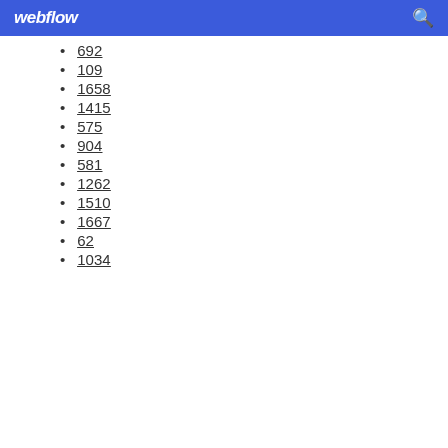webflow
692
109
1658
1415
575
904
581
1262
1510
1667
62
1034